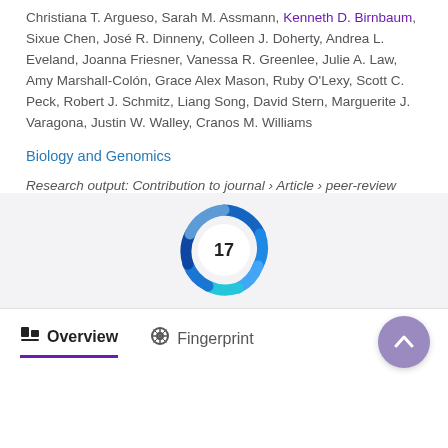Christiana T. Argueso, Sarah M. Assmann, Kenneth D. Birnbaum, Sixue Chen, José R. Dinneny, Colleen J. Doherty, Andrea L. Eveland, Joanna Friesner, Vanessa R. Greenlee, Julie A. Law, Amy Marshall-Colón, Grace Alex Mason, Ruby O'Lexy, Scott C. Peck, Robert J. Schmitz, Liang Song, David Stern, Marguerite J. Varagona, Justin W. Walley, Cranos M. Williams
Biology and Genomics
Research output: Contribution to journal › Article › peer-review
[Figure (other): Altmetric score badge showing the number 17 with a blue swirl donut ring around it]
Overview   Fingerprint